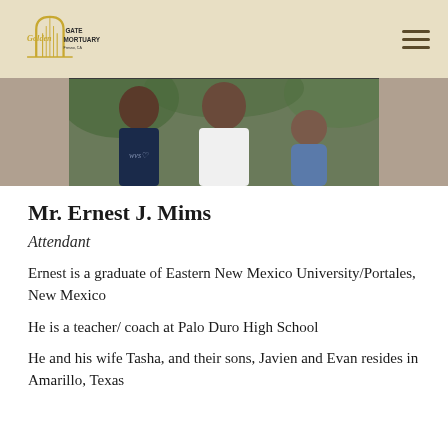[Figure (logo): Golden Gate Mortuary logo with golden gate arch graphic and stylized text]
[Figure (photo): Family photo showing a woman in a dark tank top, a man in a white shirt, and a baby in a denim outfit, outdoors with green background]
Mr. Ernest J. Mims
Attendant
Ernest is a graduate of Eastern New Mexico University/Portales, New Mexico
He is a teacher/ coach at Palo Duro High School
He and his wife Tasha, and their sons, Javien and Evan resides in Amarillo, Texas